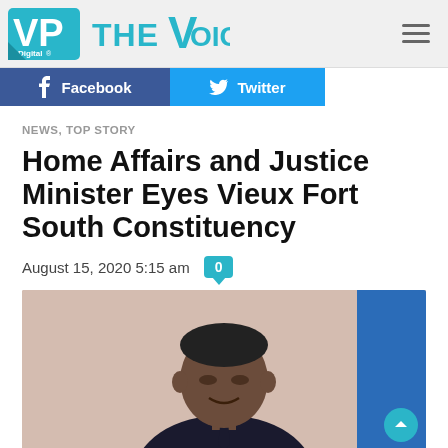VP Digital The Voice
Facebook  Twitter
NEWS, TOP STORY
Home Affairs and Justice Minister Eyes Vieux Fort South Constituency
August 15, 2020 5:15 am  0
[Figure (photo): Portrait photo of a man (Home Affairs and Justice Minister) smiling slightly, wearing a dark suit and tie, with a blue flag visible on the right side. Peach/neutral background.]